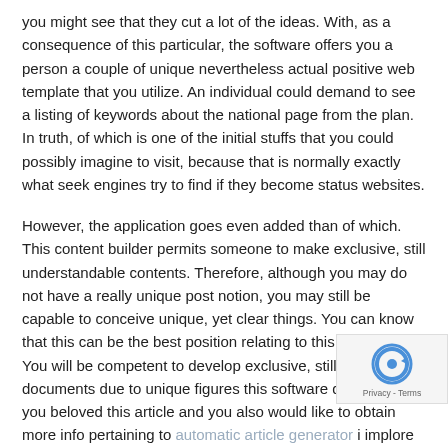you might see that they cut a lot of the ideas. With, as a consequence of this particular, the software offers you a person a couple of unique nevertheless actual positive web template that you utilize. An individual could demand to see a listing of keywords about the national page from the plan. In truth, of which is one of the initial stuffs that you could possibly imagine to visit, because that is normally exactly what seek engines try to find if they become status websites.
However, the application goes even added than of which. This content builder permits someone to make exclusive, still understandable contents. Therefore, although you may do not have a really unique post notion, you may still be capable to conceive unique, yet clear things. You can know that this can be the best position relating to this post builder. You will be competent to develop exclusive, still legible documents due to unique figures this software delivers. If you beloved this article and you also would like to obtain more info pertaining to automatic article generator i implore you to visit our web site. As a result, several article marketers would counsel this specific as one of the best applications pertaining to journalists to make use of.
On the list of popular features of the engineer which a person be really interested in would be the power to not really solely
[Figure (other): reCAPTCHA badge with spinning arrows icon and 'Privacy - Terms' text]